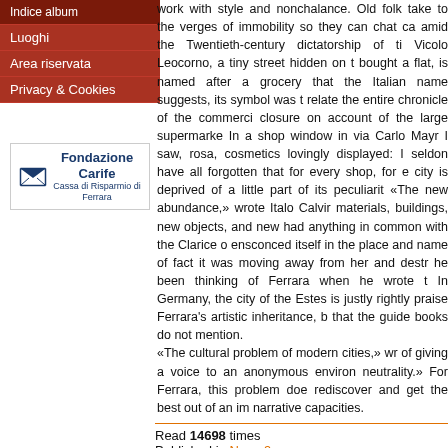Luoghi
Area riservata
Privacy & Cookies
[Figure (logo): Fondazione Carife - Cassa di Risparmio di Ferrara logo with envelope icon]
work with style and nonchalance. Old folk take to the verges of immobility so they can chat ca amid the Twentieth-century dictatorship of ti Vicolo Leocorno, a tiny street hidden on t bought a flat, is named after a grocery that the Italian name suggests, its symbol was t relate the entire chronicle of the commerci closure on account of the large supermarke In a shop window in via Carlo Mayr I saw, rosa, cosmetics lovingly displayed: I seldon have all forgotten that for every shop, for e city is deprived of a little part of its peculiarit «The new abundance,» wrote Italo Calvir materials, buildings, new objects, and new had anything in common with the Clarice o ensconced itself in the place and name of fact it was moving away from her and destr he been thinking of Ferrara when he wrote t In Germany, the city of the Estes is justly rightly praise Ferrara's artistic inheritance, b that the guide books do not mention. «The cultural problem of modern cities,» wr of giving a voice to an anonymous environ neutrality.» For Ferrara, this problem doe rediscover and get the best out of an im narrative capacities.
Read 14698 times
Published in Num. 9